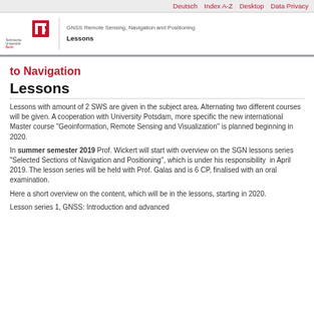Deutsch   Index A-Z   Desktop   Data Privacy
[Figure (logo): TU Berlin logo with red stylized TU mark and text 'Technische Universität Berlin']
GNSS Remote Sensing, Navigation and Positioning
Lessons
to Navigation
Lessons
Lessons with amount of 2 SWS are given in the subject area. Alternating two different courses will be given. A cooperation with University Potsdam, more specific the new international Master course "Geoinformation, Remote Sensing and Visualization" is planned beginning in 2020.
In summer semester 2019 Prof. Wickert will start with overview on the SGN lessons series "Selected Sections of Navigation and Positioning", which is under his responsibility  in April 2019. The lesson series will be held with Prof. Galas and is 6 CP, finalised with an oral examination.
Here a short overview on the content, which will be in the lessons, starting in 2020.
Lesson series 1, GNSS: Introduction and advanced fundamentals